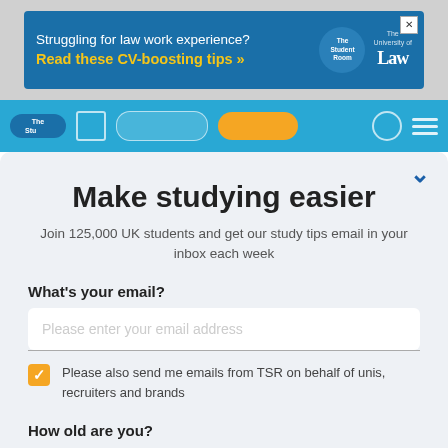[Figure (screenshot): Blue banner advertisement: 'Struggling for law work experience? Read these CV-boosting tips »' with The Student Room and The University of Law logos]
[Figure (screenshot): The Student Room site navigation header bar in teal/blue]
Make studying easier
Join 125,000 UK students and get our study tips email in your inbox each week
What's your email?
Please enter your email address
Please also send me emails from TSR on behalf of unis, recruiters and brands
How old are you?
I'm 13 or older
I'm under 13